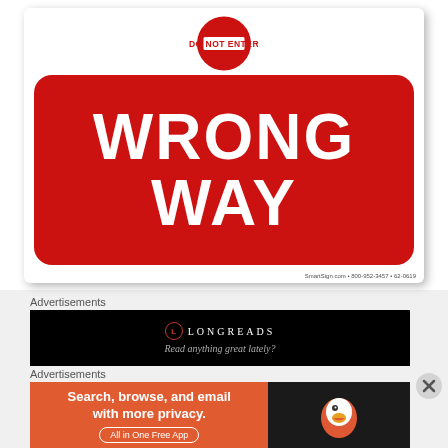[Figure (photo): A 'Do Not Enter / Wrong Way' road sign on white background. The top shows a partially cropped red circular Do Not Enter sign with white text 'DO NOT ENTER'. Below it is a large red rectangular sign with rounded corners reading 'WRONG WAY' in large white bold letters. SmartSign.com watermark visible at bottom right.]
Advertisements
[Figure (screenshot): Black advertisement banner for Longreads. Shows Longreads logo (L in circle) and name, with italic tagline 'Read anything great lately?']
Advertisements
[Figure (screenshot): DuckDuckGo advertisement banner. Orange left section reads 'Search, browse, and email with more privacy. All in One Free App'. Dark right section shows DuckDuckGo duck logo.]